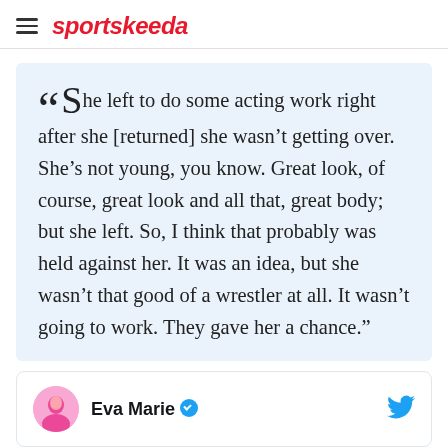sportskeeda
“She left to do some acting work right after she [returned] she wasn’t getting over. She’s not young, you know. Great look, of course, great look and all that, great body; but she left. So, I think that probably was held against her. It was an idea, but she wasn’t that good of a wrestler at all. It wasn’t going to work. They gave her a chance.”
Eva Marie